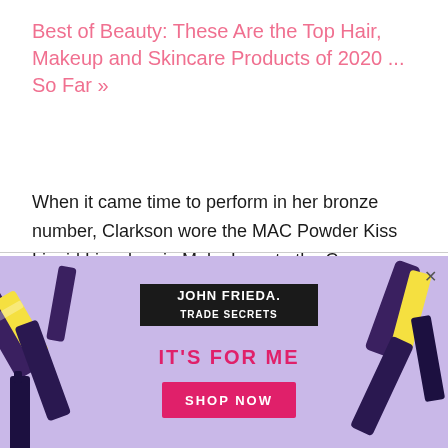Best of Beauty: These Are the Top Hair, Makeup and Skincare Products of 2020 ... So Far »
When it came time to perform in her bronze number, Clarkson wore the MAC Powder Kiss Liquid Lipcolour in Make Love to the Camera. And for the black ensemble complete with a topknot, she donned the classic MAC Lip Pencil in Spice for a truly chic finish.
[Figure (other): John Frieda advertisement with purple background showing hair care products. Text reads JOHN FRIEDA. IT'S FOR ME SHOP NOW with a pink Shop Now button and an X close button.]